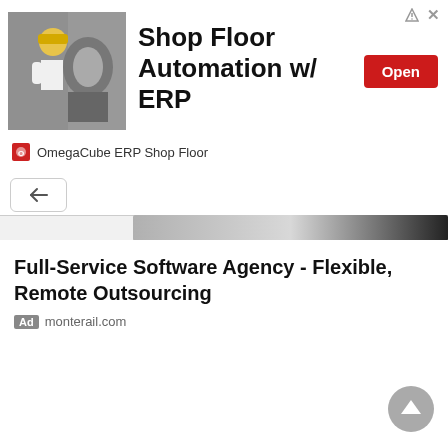[Figure (screenshot): Advertisement banner: worker in hard hat with machinery, promoting Shop Floor Automation w/ ERP, with Open button and OmegaCube ERP Shop Floor branding]
Full-Service Software Agency - Flexible, Remote Outsourcing
Ad  monterail.com